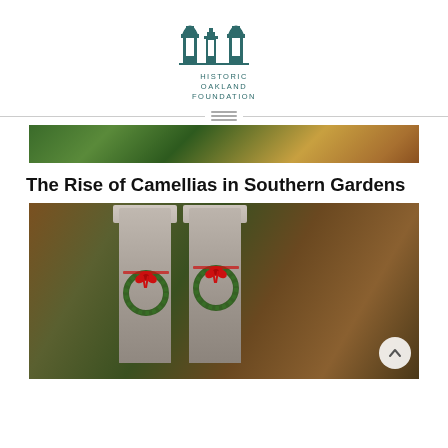[Figure (logo): Historic Oakland Foundation logo with two arched gateway pillars in teal/dark green above the text HISTORIC OAKLAND FOUNDATION]
[Figure (photo): Wide banner photo showing green foliage and autumn leaves]
The Rise of Camellias in Southern Gardens
[Figure (photo): Cemetery entrance columns decorated with Christmas wreaths with red bows and ribbons, gravestones visible in background]